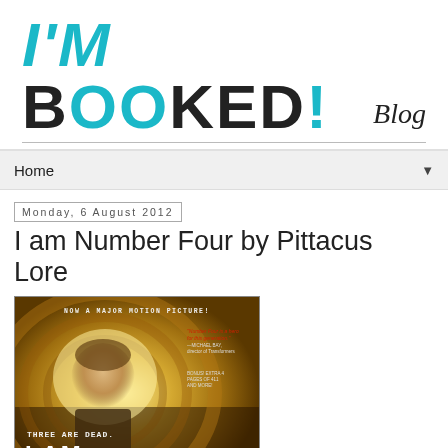I'M BOOKED! Blog
Home
Monday, 6 August 2012
I am Number Four by Pittacus Lore
[Figure (photo): Book cover of 'I Am Number Four' by Pittacus Lore - movie tie-in edition showing a young man standing in front of glowing circular rings with text 'NOW A MAJOR MOTION PICTURE!', 'THREE ARE DEAD.', 'I AM NUMBER' visible]